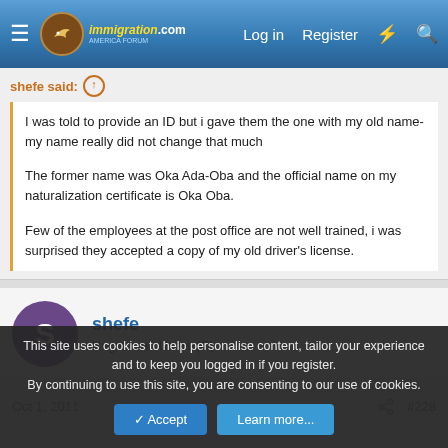immigration .com | Log in | Register
shefe said:
I was told to provide an ID but i gave them the one with my old name- my name really did not change that much

The former name was Oka Ada-Oba and the official name on my naturalization certificate is Oka Oba.

Few of the employees at the post office are not well trained, i was surprised they accepted a copy of my old driver's license.
shefe
Registered Users (C)
Oct 1, 2011  #228
This site uses cookies to help personalise content, tailor your experience and to keep you logged in if you register.
By continuing to use this site, you are consenting to our use of cookies.